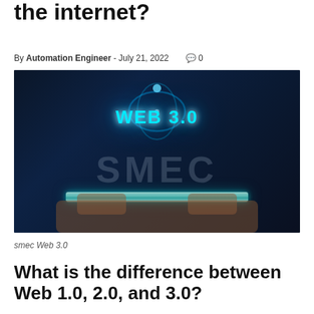the internet?
By Automation Engineer - July 21, 2022   💬 0
[Figure (photo): A person in a business suit holding a glowing tablet device with 'WEB 3.0' text in bright cyan and a watermark reading 'SMEC' in the background, glowing energy rings above the tablet, dark blue background.]
smec Web 3.0
What is the difference between Web 1.0, 2.0, and 3.0?